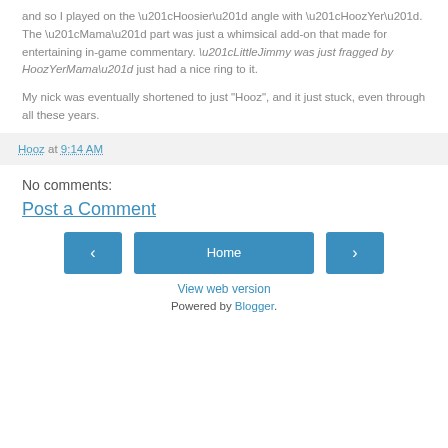and so I played on the “Hoosier” angle with “HoozYer”. The “Mama” part was just a whimsical add-on that made for entertaining in-game commentary. “LittleJimmy was just fragged by HoozYerMama” just had a nice ring to it.
My nick was eventually shortened to just "Hooz", and it just stuck, even through all these years.
Hooz at 9:14 AM
No comments:
Post a Comment
Home
View web version
Powered by Blogger.